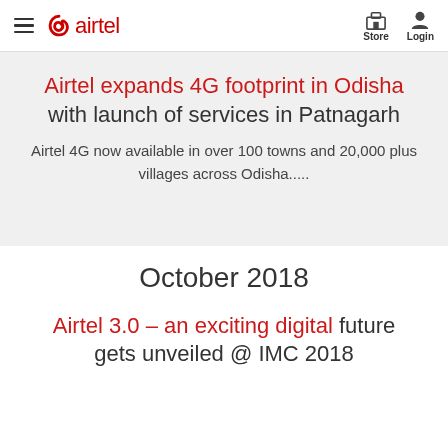airtel  Store  Login
Airtel expands 4G footprint in Odisha with launch of services in Patnagarh
Airtel 4G now available in over 100 towns and 20,000 plus villages across Odisha.....
October 2018
Airtel 3.0 – an exciting digital future gets unveiled @ IMC 2018